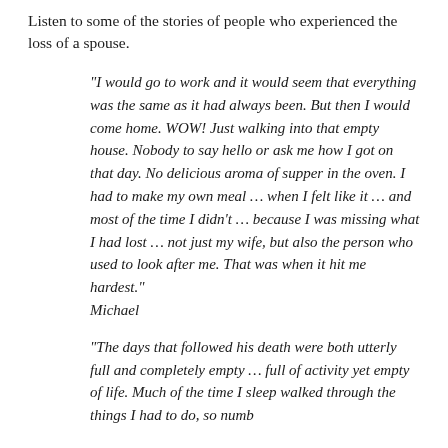Listen to some of the stories of people who experienced the loss of a spouse.
“I would go to work and it would seem that everything was the same as it had always been. But then I would come home. WOW! Just walking into that empty house. Nobody to say hello or ask me how I got on that day. No delicious aroma of supper in the oven. I had to make my own meal … when I felt like it … and most of the time I didn’t … because I was missing what I had lost … not just my wife, but also the person who used to look after me. That was when it hit me hardest.” Michael
“The days that followed his death were both utterly full and completely empty … full of activity yet empty of life. Much of the time I sleep walked through the things I had to do, so numb